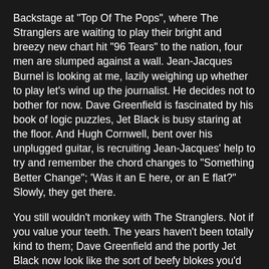Backstage at "Top Of The Pops", where The Stranglers are waiting to play their bright and breezy new chart hit "96 Tears" to the nation, four men are slumped against a wall. Jean-Jacques Burnel is looking at me, lazily weighing up whether to play let's wind up the journalist. He decides not to bother for now. Dave Greenfield is fascinated by his book of logic puzzles, Jet Black is busy staring at the floor. And Hugh Cornwell, bent over his unplugged guitar, is recruiting Jean-Jacques' help to try and remember the chord changes to "Something Better Change"; 'Was it an E here, or an E flat?" Slowly, they get there.
You still wouldn't monkey with The Stranglers. Not if you value your teeth. The years haven't been totally kind to them; Dave Greenfield and the portly Jet Black now look like the sort of beefy blokes you'd call in to fix your plumbing. They haven't matured well. But Hugh Cornwell is still lithe, tanned, primed, a perennial alert gleam in his eye. And the chunky Jean-Jacques Burnel, with his roguish sense of fun, his cocky charm, the karate kicks he's practising around my